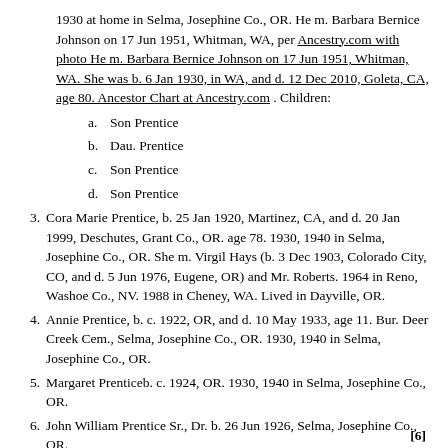1930 at home in Selma, Josephine Co., OR. He m. Barbara Bernice Johnson on 17 Jun 1951, Whitman, WA, per Ancestry.com with photo He m. Barbara Bernice Johnson on 17 Jun 1951, Whitman, WA. She was b. 6 Jan 1930, in WA, and d. 12 Dec 2010, Goleta, CA, age 80. Ancestor Chart at Ancestry.com . Children:
a. Son Prentice
b. Dau. Prentice
c. Son Prentice
d. Son Prentice
3. Cora Marie Prentice, b. 25 Jan 1920, Martinez, CA, and d. 20 Jan 1999, Deschutes, Grant Co., OR. age 78. 1930, 1940 in Selma, Josephine Co., OR. She m. Virgil Hays (b. 3 Dec 1903, Colorado City, CO, and d. 5 Jun 1976, Eugene, OR) and Mr. Roberts. 1964 in Reno, Washoe Co., NV. 1988 in Cheney, WA. Lived in Dayville, OR.
4. Annie Prentice, b. c. 1922, OR, and d. 10 May 1933, age 11. Bur. Deer Creek Cem., Selma, Josephine Co., OR. 1930, 1940 in Selma, Josephine Co., OR.
5. Margaret Prenticeb. c. 1924, OR. 1930, 1940 in Selma, Josephine Co., OR.
6. John William Prentice Sr., Dr. b. 26 Jun 1926, Selma, Josephine Co., OR.
[6]